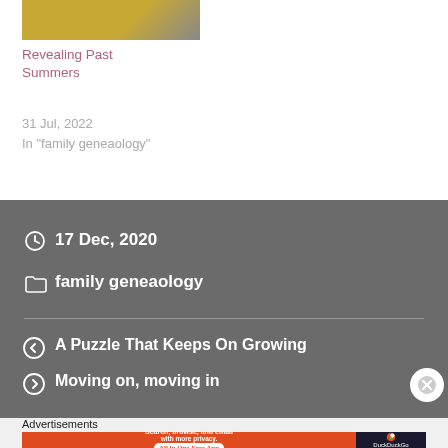[Figure (photo): Thumbnail image of a yellow building]
Revealing Past Summers
31 Jul, 2022
In "family geneaology"
17 Dec, 2020
family geneaology
A Puzzle That Keeps On Growing
Moving on, moving in
Advertisements
[Figure (screenshot): DuckDuckGo advertisement banner: Search, browse, and email with more privacy. All in One Free App]